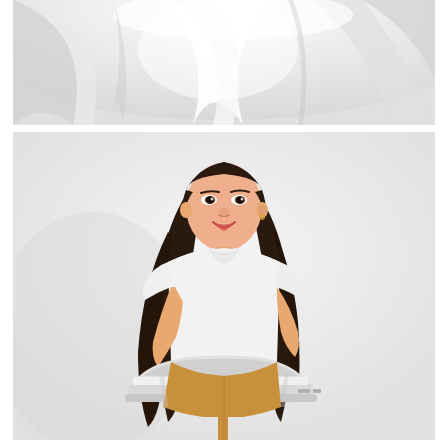[Figure (photo): Close-up photo of white flowing fabric or cloth, soft and billowy, against a light background. Cropped image showing only the upper portion.]
[Figure (photo): Studio portrait photo of a young Asian girl with long straight dark hair, wearing a white short-sleeve t-shirt and tan/golden trousers, sitting and using a white laptop computer, smiling, against a white background.]